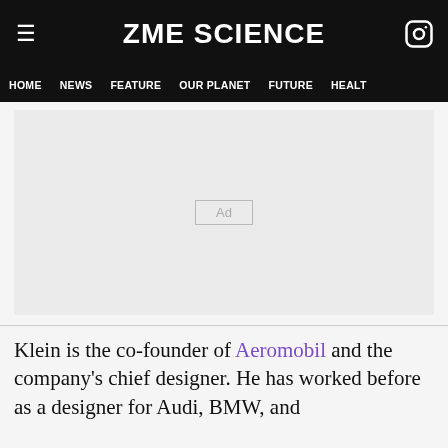ZME SCIENCE
HOME  NEWS  FEATURE  OUR PLANET  FUTURE  HEALTH
[Figure (other): Advertisement placeholder box with 'Ad' label on light grey background]
Klein is the co-founder of Aeromobil and the company's chief designer. He has worked before as a designer for Audi, BMW, and...